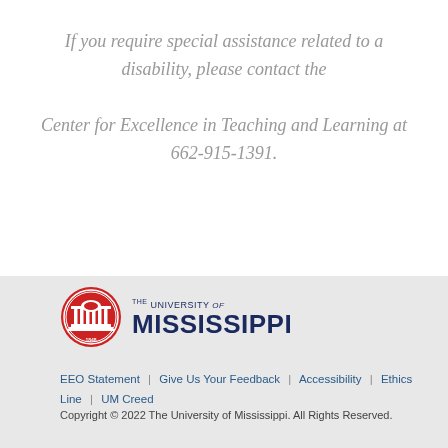If you require special assistance related to a disability, please contact the Center for Excellence in Teaching and Learning at 662-915-1391.
[Figure (logo): University of Mississippi logo with red circular seal and dark blue university name text]
EEO Statement | Give Us Your Feedback | Accessibility | Ethics Line | UM Creed
Copyright © 2022 The University of Mississippi. All Rights Reserved.